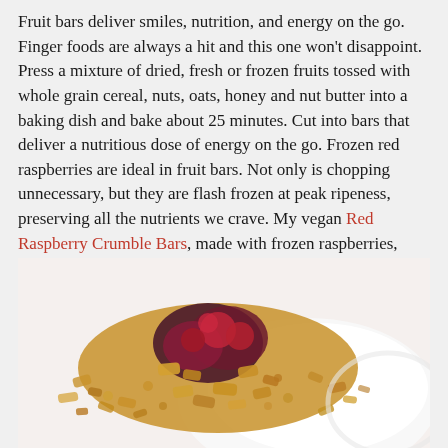Fruit bars deliver smiles, nutrition, and energy on the go. Finger foods are always a hit and this one won't disappoint. Press a mixture of dried, fresh or frozen fruits tossed with whole grain cereal, nuts, oats, honey and nut butter into a baking dish and bake about 25 minutes. Cut into bars that deliver a nutritious dose of energy on the go. Frozen red raspberries are ideal in fruit bars. Not only is chopping unnecessary, but they are flash frozen at peak ripeness, preserving all the nutrients we crave. My vegan Red Raspberry Crumble Bars, made with frozen raspberries, oats, hemp seeds and almond milk, are as tasty as they are nutritious.
[Figure (photo): A photo of a crumble bar topped with frozen raspberries and granola/oat crumble, served on a white plate, viewed from above at a slight angle.]